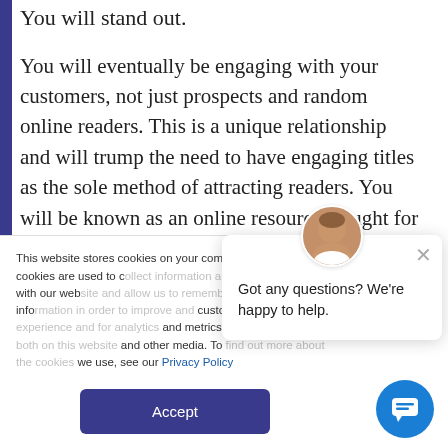You will stand out.
You will eventually be engaging with your customers, not just prospects and random online readers. This is a unique relationship and will trump the need to have engaging titles as the sole method of attracting readers. You will be known as an online resource, sought for helpful tips, the centre of the discussion and trusted ally in the search for quality service and
This website stores cookies on your computer. These cookies are used to collect information about how you interact with our website and allow us to remember you. We use this information in order to improve and customize your browsing experience and for analytics and metrics about our visitors both on this website and other media. To find out more about the cookies we use, see our Privacy Policy
Got any questions? We're happy to help.
Accept